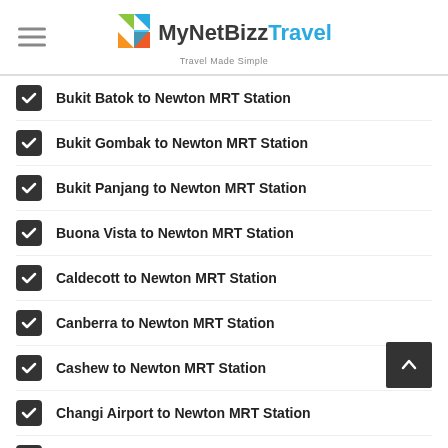MyNetBizzTravel — Travel Made Simple
Bukit Batok to Newton MRT Station
Bukit Gombak to Newton MRT Station
Bukit Panjang to Newton MRT Station
Buona Vista to Newton MRT Station
Caldecott to Newton MRT Station
Canberra to Newton MRT Station
Cashew to Newton MRT Station
Changi Airport to Newton MRT Station
Chinatown to Newton MRT Station
Chinese Garden to Newton MRT Station
Choa Chu Kang to Newton MRT Station